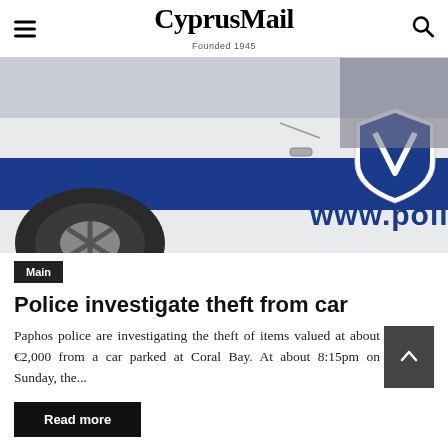CyprusMail
Founded 1945
[Figure (photo): Close-up photograph of a Cyprus police car showing the vehicle door with blue stripe and Cyprus police badge/crest, and partial text 'www.police' visible on the door]
Main
Police investigate theft from car
Paphos police are investigating the theft of items valued at about €2,000 from a car parked at Coral Bay. At about 8:15pm on Sunday, the...
Read more